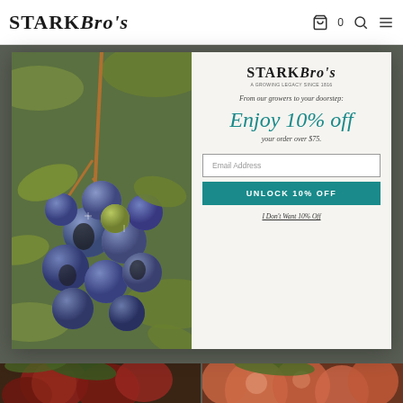Stark Bro's — navigation header with cart (0), search, and menu icons
[Figure (screenshot): Website modal popup showing Stark Bro's logo, promotional offer '10% off orders over $75', email input field, unlock button, and a close link, overlaid on a blueberry photograph]
From our growers to your doorstep:
Enjoy 10% off
your order over $75.
Email Address
UNLOCK 10% OFF
I Don't Want 10% Off
[Figure (photo): Bottom left partial photo of dark red berries or fruit on green leaves]
[Figure (photo): Bottom right partial photo of peach-colored round fruits]